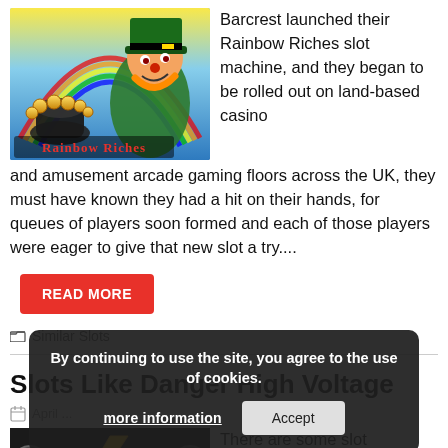[Figure (illustration): Rainbow Riches slot machine promotional image with leprechaun and pot of gold, with 'Rainbow Riches' text logo]
Barcrest launched their Rainbow Riches slot machine, and they began to be rolled out on land-based casino and amusement arcade gaming floors across the UK, they must have known they had a hit on their hands, for queues of players soon formed and each of those players were eager to give that new slot a try....
READ MORE
Similar Slots
Slots Like Danger High Voltage
April ...
[Figure (screenshot): Danger High Voltage slot machine image showing 'DANGER' text with lightning bolt logo]
There are some slot machines that are going
By continuing to use the site, you agree to the use of cookies.
more information   Accept